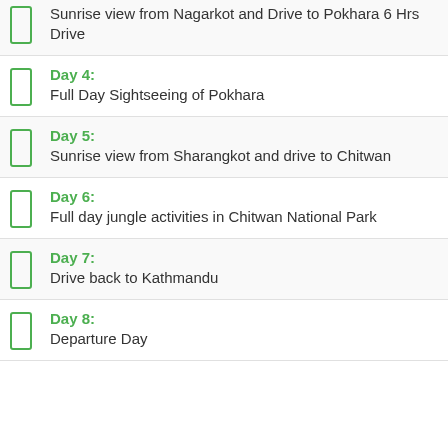Sunrise view from Nagarkot and Drive to Pokhara 6 Hrs Drive
Day 4: Full Day Sightseeing of Pokhara
Day 5: Sunrise view from Sharangkot and drive to Chitwan
Day 6: Full day jungle activities in Chitwan National Park
Day 7: Drive back to Kathmandu
Day 8: Departure Day